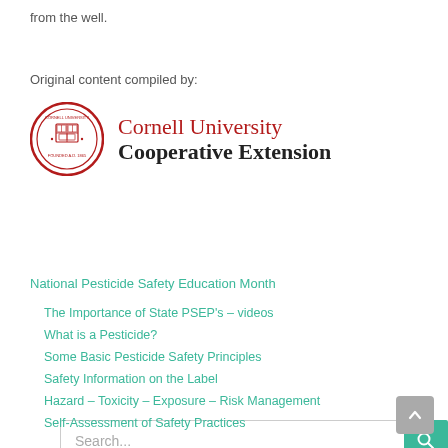from the well.
Original content compiled by:
[Figure (logo): Cornell University Cooperative Extension logo with red circular seal and text]
Search...
National Pesticide Safety Education Month
The Importance of State PSEP's – videos
What is a Pesticide?
Some Basic Pesticide Safety Principles
Safety Information on the Label
Hazard – Toxicity – Exposure – Risk Management
Self-Assessment of Safety Practices